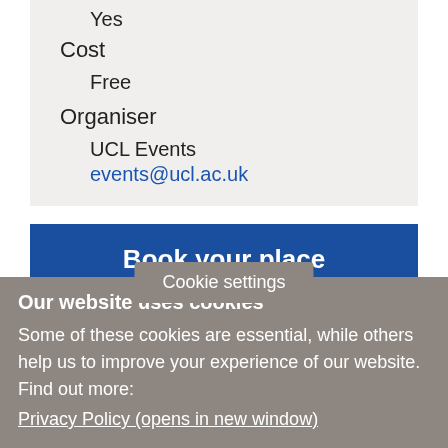Yes
Cost
Free
Organiser
UCL Events
events@ucl.ac.uk
Book your place
About the Lecture:
Dr Joe Penny will di…searching the Local State's response to … with and for
Cookie settings
Our website uses cookies
Some of these cookies are essential, while others help us to improve your experience of our website. Find out more:
Privacy Policy (opens in new window)